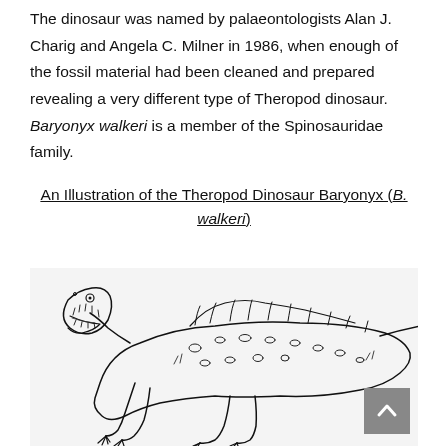The dinosaur was named by palaeontologists Alan J. Charig and Angela C. Milner in 1986, when enough of the fossil material had been cleaned and prepared revealing a very different type of Theropod dinosaur. Baryonyx walkeri is a member of the Spinosauridae family.
An Illustration of the Theropod Dinosaur Baryonyx (B. walkeri)
[Figure (illustration): Black and white line drawing illustration of Baryonyx walkeri, a Theropod dinosaur, shown with open jaws, clawed forelimbs, spotted/marked body, and a long tail with stripes.]